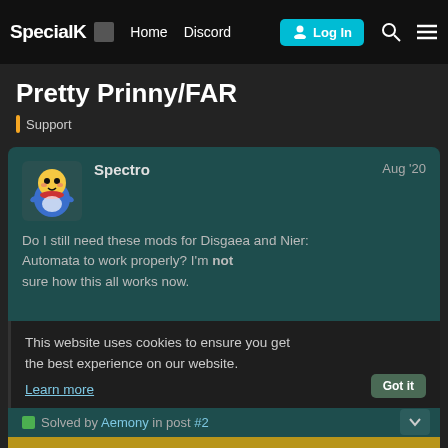SpecialK  Home  Discord  Log In
Pretty Prinny/FAR
Support
Spectro  Aug '20
Do I still need these mods for Disgaea and Nier: Automata to work properly? I'm not sure how this all works now.
This website uses cookies to ensure you get the best experience on our website.
Learn more
Solved by Aemony in post #2
Game-specific mods usually have higher compatibility levels than a fully up to date version. This is a result of Kaldaien moving on and working on things that might lower the compatibility wi...
1 / 9